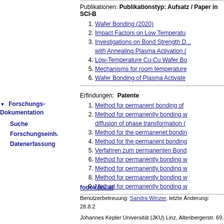Publikationen: Publikationstyp: Aufsatz / Paper in SCI-B
1. Wafer Bonding (2020)
2. Impact Factors on Low Temperatu...
3. Investigations on Bond Strength D... with Annealing Plasma Activation (
4. Low-Temperature Cu-Cu Wafer Bo...
5. Mechanisms for room temperature...
6. Wafer Bonding of Plasma Activate...
Erfindungen:  Patente
1. Method for permanent bonding of ...
2. Method for permanently bonding w... diffusion of phase transformation (...
3. Method for the permanenet bondin...
4. Method for the permanent bonding...
5. Verfahren zum permanenten Bond...
6. Method for permanently bonding w...
7. Method for permanently bonding w...
8. Method for permanently bonding w...
9. Method for permanently bonding w...
fodok.jku.at
Benutzerbetreuung: Sandra Winzer, letzte Änderung: 28.8.2...
Johannes Kepler Universität (JKU) Linz, Altenbergerstr. 69, Telefon + 43 732 / 2468 - 9121, Fax + 43 732 / 2468 - 2912...